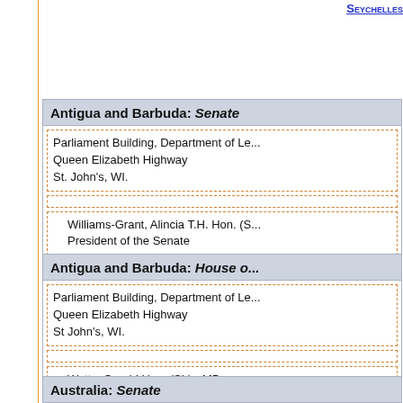Seychelles
Antigua and Barbuda: Senate
Parliament Building, Department of Le...
Queen Elizabeth Highway
St. John's, WI.
Williams-Grant, Alincia T.H. Hon. (S...
President of the Senate
Antigua and Barbuda: House of...
Parliament Building, Department of Le...
Queen Elizabeth Highway
St John's, WI.
Watts, Gerald Hon. (Sir) – MP
Speaker of the House of Represen...
Australia: Senate